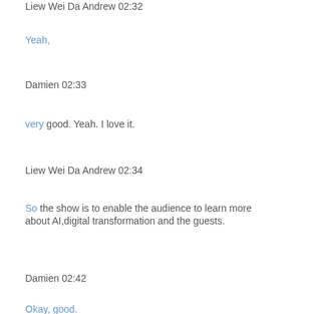Liew Wei Da Andrew 02:32
Yeah,
Damien 02:33
very good. Yeah. I love it.
Liew Wei Da Andrew 02:34
So the show is to enable the audience to learn more about AI,digital transformation and the guests.
Damien 02:42
Okay, good.